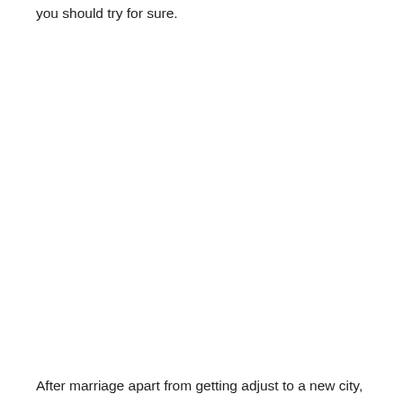you should try for sure.
After marriage apart from getting adjust to a new city,